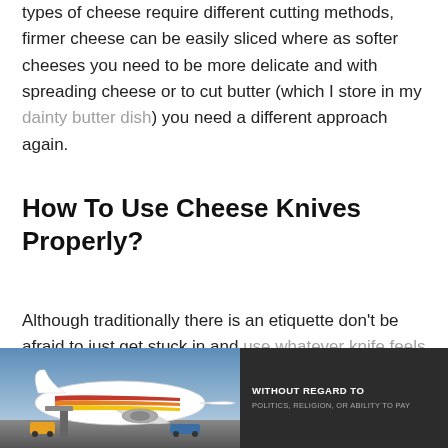types of cheese require different cutting methods, firmer cheese can be easily sliced where as softer cheeses you need to be more delicate and with spreading cheese or to cut butter (which I store in my dainty butter dish) you need a different approach again.
How To Use Cheese Knives Properly?
Although traditionally there is an etiquette don't be afraid to just get stuck in and use whatever knife feels right and see what happens, I mean it's not the end of the world if you cut the wrong cheese with the
[Figure (photo): Advertisement banner showing an airplane being loaded with cargo, with text panel reading WITHOUT REGARD TO POLITICS, RELIGION, OR ABILITY TO PAY]